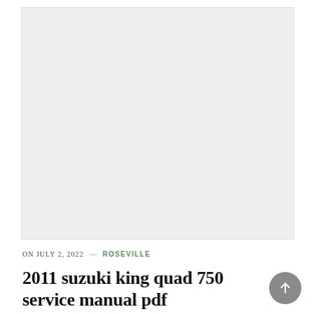[Figure (photo): Large light grey placeholder image area at the top of the page]
ON JULY 2, 2022 — ROSEVILLE
2011 suzuki king quad 750 service manual pdf